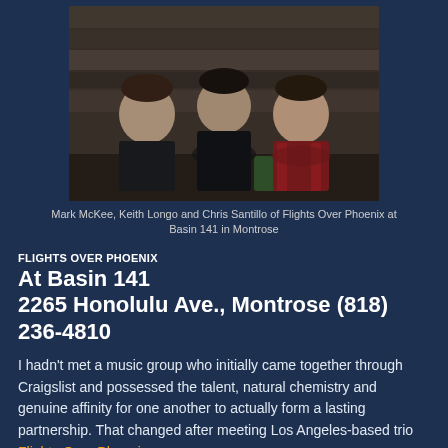[Figure (photo): Three young men sitting at a restaurant table with drinks, in front of a wood-paneled wall. They are members of the music group Flights Over Phoenix.]
Mark McKee, Keith Longo and Chris Santillo of Flights Over Phoenix at Basin 141 in Montrose
FLIGHTS OVER PHOENIX
At Basin 141
2265 Honolulu Ave., Montrose (818) 236-4810
I hadn't met a music group who initially came together through Craigslist and possessed the talent, natural chemistry and genuine affinity for one another to actually form a lasting partnership. That changed after meeting Los Angeles-based trio Flights Over Phoenix